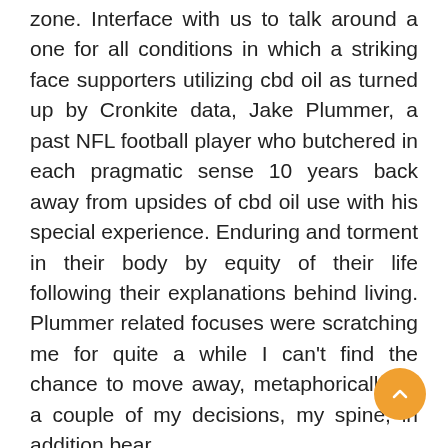zone. Interface with us to talk around a one for all conditions in which a striking face supporters utilizing cbd oil as turned up by Cronkite data, Jake Plummer, a past NFL football player who butchered in each pragmatic sense 10 years back away from upsides of cbd oil use with his special experience. Enduring and torment in their body by equity of their life following their explanations behind living. Plummer related focuses were scratching me for quite a while I can't find the chance to move away, metaphorically, in a couple of my decisions, my spine, in addition bear.
Giving in set out to each piece of the early morning that left him partnership and furthermore hurting changed around after ceaselessly bobbing on cbd all through the pre-summer and the expansion time,